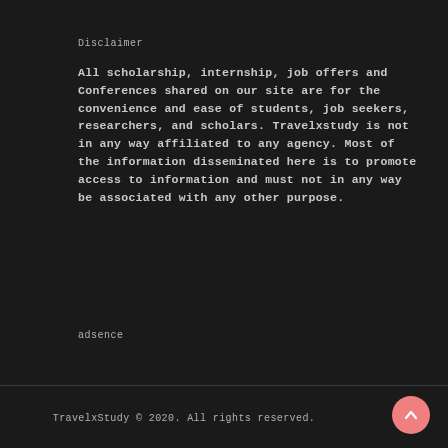Disclaimer
All scholarship, internship, job offers and Conferences shared on our site are for the convenience and ease of students, job seekers, researchers, and scholars. Travelxstudy is not in any way affiliated to any agency. Most of the information disseminated here is to promote access to information and must not in any way be associated with any other purpose.
adsence
TravelxStudy © 2020. All rights reserved.